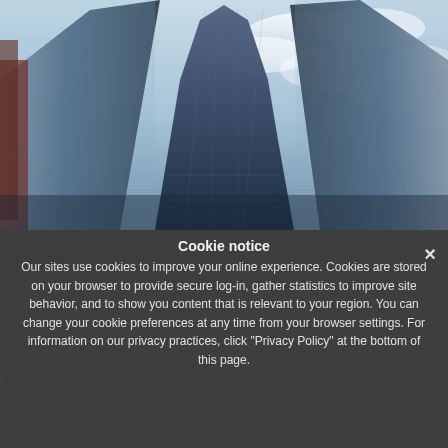[Figure (photo): Upward fisheye-lens view of tall glass skyscrapers against a blue cloudy sky, blue and silver tones]
Automation, New Standards Drive Audit's Next Decade [...]
BLOG
By Mi... sure more... profi... regulations. Those [...]
Cookie notice
Our sites use cookies to improve your online experience. Cookies are stored on your browser to provide secure log-in, gather statistics to improve site behavior, and to show you content that is relevant to your region. You can change your cookie preferences at any time from your browser settings. For information on our privacy practices, click "Privacy Policy" at the bottom of this page.